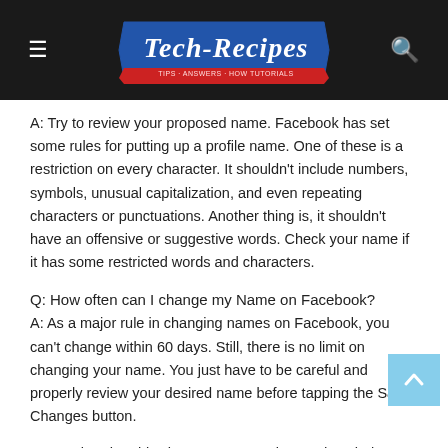Tech-Recipes
A: Try to review your proposed name. Facebook has set some rules for putting up a profile name. One of these is a restriction on every character. It shouldn't include numbers, symbols, unusual capitalization, and even repeating characters or punctuations. Another thing is, it shouldn't have an offensive or suggestive words. Check your name if it has some restricted words and characters.
Q: How often can I change my Name on Facebook?
A: As a major rule in changing names on Facebook, you can't change within 60 days. Still, there is no limit on changing your name. You just have to be careful and properly review your desired name before tapping the Save Changes button.
Remember that this change name setting tends to help you